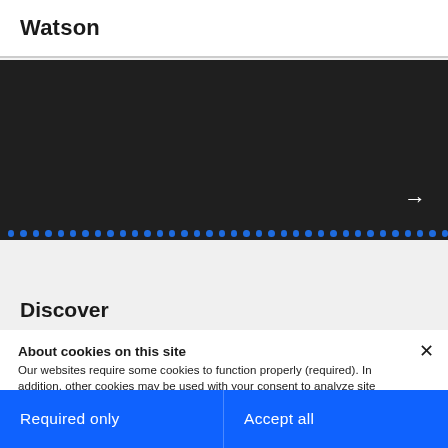Watson
[Figure (screenshot): Dark hero banner with a right-facing arrow and a row of blue dots at the bottom]
Discover
About cookies on this site
Our websites require some cookies to function properly (required). In addition, other cookies may be used with your consent to analyze site usage, improve the user experience and for advertising.

For more information, please review your Cookie preferences options and IBM's privacy statement.
Required only
Accept all